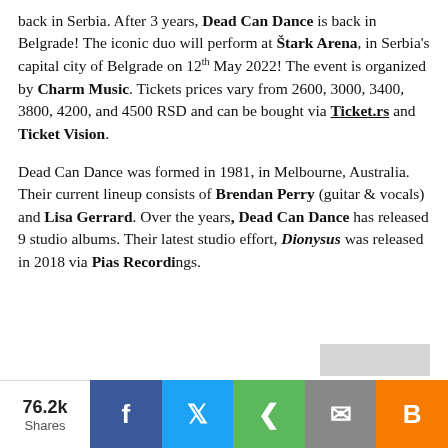back in Serbia. After 3 years, Dead Can Dance is back in Belgrade! The iconic duo will perform at Štark Arena, in Serbia's capital city of Belgrade on 12th May 2022! The event is organized by Charm Music. Tickets prices vary from 2600, 3000, 3400, 3800, 4200, and 4500 RSD and can be bought via Ticket.rs and Ticket Vision.
Dead Can Dance was formed in 1981, in Melbourne, Australia. Their current lineup consists of Brendan Perry (guitar & vocals) and Lisa Gerrard. Over the years, Dead Can Dance has released 9 studio albums. Their latest studio effort, Dionysus was released in 2018 via Pias Recordings.
76.2k Shares | Facebook | Twitter | Share | Email | Blogger